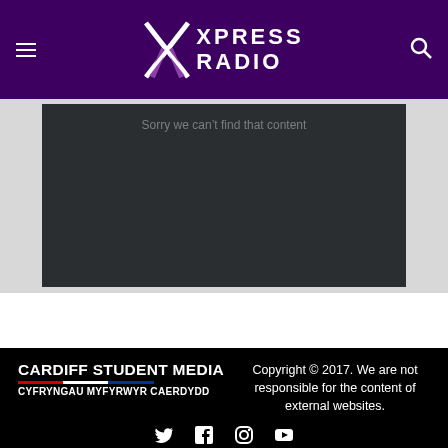Xpress Radio
[Figure (screenshot): Dark video embed area with grey text: Sorry we can't find that content]
Sorry we can't find that content
Cardiff Student Media / Cyfryngau Myfyrwyr Caerdydd — Copyright © 2017. We are not responsible for the content of external websites.
Social icons: Twitter, Facebook, Instagram, YouTube